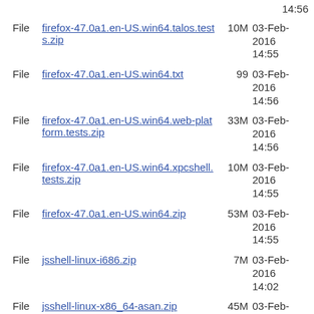14:56 (partial date row at top)
File  firefox-47.0a1.en-US.win64.talos.tests.zip  10M  03-Feb-2016 14:55
File  firefox-47.0a1.en-US.win64.txt  99  03-Feb-2016 14:56
File  firefox-47.0a1.en-US.win64.web-platform.tests.zip  33M  03-Feb-2016 14:56
File  firefox-47.0a1.en-US.win64.xpcshell.tests.zip  10M  03-Feb-2016 14:55
File  firefox-47.0a1.en-US.win64.zip  53M  03-Feb-2016 14:55
File  jsshell-linux-i686.zip  7M  03-Feb-2016 14:02
File  jsshell-linux-x86_64-asan.zip  45M  03-Feb-2016 12:20
03-Feb- (partial row at bottom)